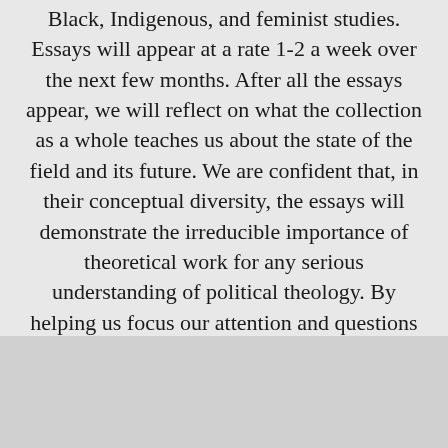Black, Indigenous, and feminist studies. Essays will appear at a rate 1-2 a week over the next few months. After all the essays appear, we will reflect on what the collection as a whole teaches us about the state of the field and its future. We are confident that, in their conceptual diversity, the essays will demonstrate the irreducible importance of theoretical work for any serious understanding of political theology. By helping us focus our attention and questions in novel ways, the theoretical approaches introduced by the essays that follow will help sharpen political theology's critical edge in its struggle against the injustices of the world.